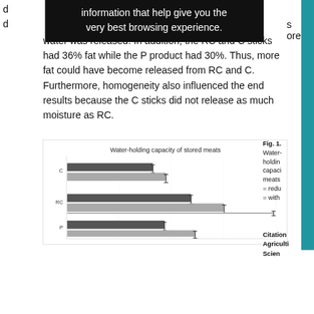information that help give you the very best browsing experience.
water was released. In addition, the RC and C sticks had 36% fat while the P product had 30%. Thus, more fat could have become released from RC and C. Furthermore, homogeneity also influenced the end results because the C sticks did not release as much moisture as RC.
[Figure (bar-chart): Horizontal grouped bar chart showing water-holding capacity of stored meats for C, RC, and P products, each with two bars (dark and light).]
Fig. 1. Water-holding capacity of stored meats = redu = with
Citation Agriculti Scien